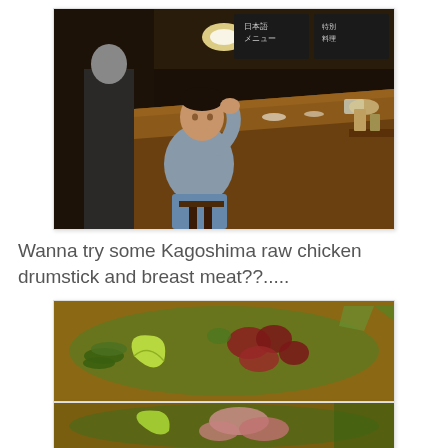[Figure (photo): Interior of a small Japanese izakaya bar/restaurant. A man in a gray shirt sits on a stool at a long wooden counter, gesturing with his hand. The walls and ceiling are cluttered with Japanese menu signs written on dark boards. Kitchen items and food are visible on the counter.]
Wanna try some Kagoshima raw chicken drumstick and breast meat??....
[Figure (photo): Close-up photo of a wooden plate with raw chicken pieces, sliced green onions, a wedge of lime, and other garnishes arranged on a bamboo leaf. The dish is Kagoshima raw chicken.]
[Figure (photo): Partial view of another plate of raw chicken with vegetables and garnishes, similar to the one above.]